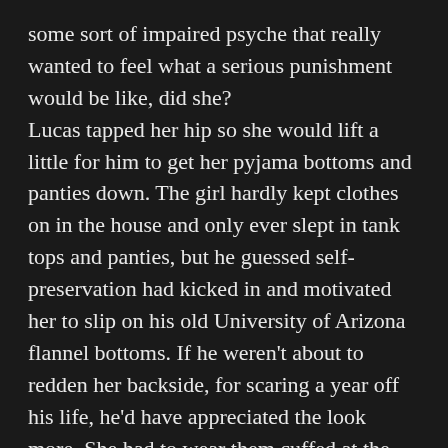some sort of impaired psyche that really wanted to feel what a serious punishment would be like, did she? Lucas tapped her hip so she would lift a little for him to get her pyjama bottoms and panties down. The girl hardly kept clothes on in the house and only ever slept in tank tops and panties, but he guessed self-preservation had kicked in and motivated her to slip on his old University of Arizona flannel bottoms. If he weren't about to redden her backside, for scaring a year off his life, he'd have appreciated the look more. She had to wear them cuffed at the top and bottom to get around in them, but she loved them and looked adorable on the rare cold Arizona night.